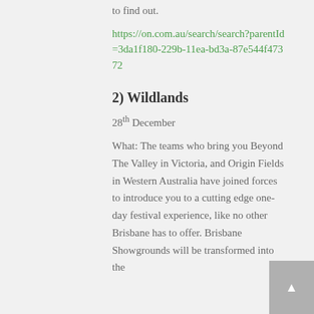to find out.
https://on.com.au/search/search?parentId=3da1f180-229b-11ea-bd3a-87e544f47372
2) Wildlands
28th December
What: The teams who bring you Beyond The Valley in Victoria, and Origin Fields in Western Australia have joined forces to introduce you to a cutting edge one-day festival experience, like no other Brisbane has to offer. Brisbane Showgrounds will be transformed into the